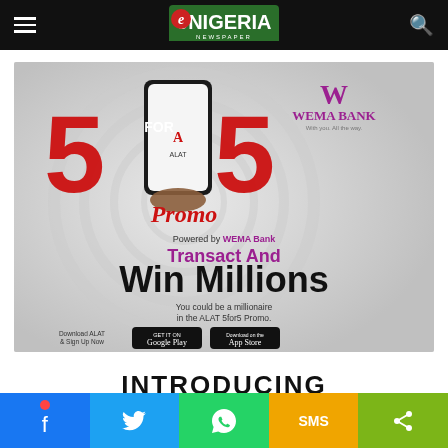eNIGERIA Newspaper
[Figure (illustration): ALAT 5for5 Promo advertisement by Wema Bank. Shows large red '5 FOR 5' text with a smartphone, 'Promo' script text, Wema Bank logo top right. Text reads: 'Powered by WEMA Bank', 'Transact And', 'Win Millions', 'You could be a millionaire in the ALAT 5for5 Promo.', 'Download ALAT & Sign Up Now' with Google Play and App Store buttons.]
INTRODUCING
Facebook | Twitter | WhatsApp | SMS | Share